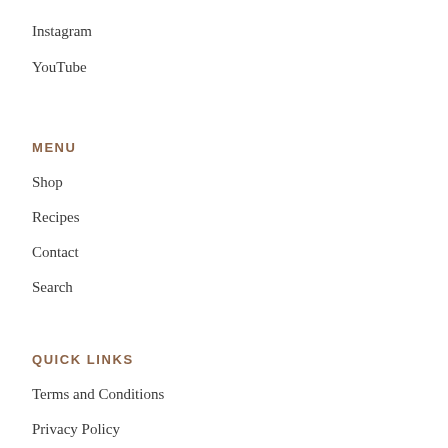Instagram
YouTube
MENU
Shop
Recipes
Contact
Search
QUICK LINKS
Terms and Conditions
Privacy Policy